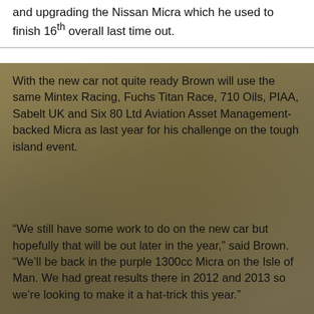and upgrading the Nissan Micra which he used to finish 16th overall last time out.
With the new car not quite ready Brown will use the same Mintex Racing, Fuchs Titan Race, 710 Oils, PIAA, Sabelt UK and Six 80 Ltd Aviation Asset Management-backed Micra as last year for his challenge on the tough island event.
“We still have some work to do on the new car but hopefully that will be out later in the year,” said Brown. “We’ll be back in the purple 1300cc Micra on the Isle of Man. We had great results there in 2012 and 2013 so we’re looking to make it a hat-trick this year.”
“The car has gone through some updates in the last few months with throttle bodies, a pedal box and hydraulic handbrake being fitted so we’ll be pushing hard to get as high up the leaderboard as we can.”
“The rally is a huge test of both car and crew. There are nearly 170 miles of competitive stages on the notoriously tricky Manx roads, some of which are in the dark. The